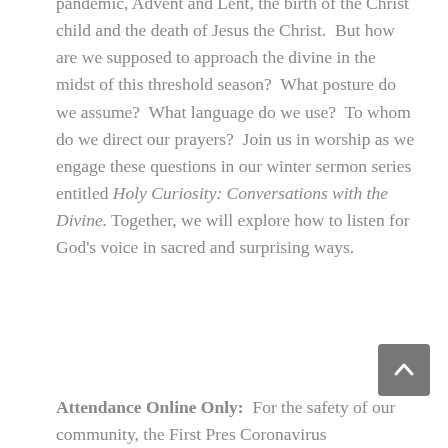pandemic, Advent and Lent, the birth of the Christ child and the death of Jesus the Christ.  But how are we supposed to approach the divine in the midst of this threshold season?  What posture do we assume?  What language do we use?  To whom do we direct our prayers?  Join us in worship as we engage these questions in our winter sermon series entitled Holy Curiosity: Conversations with the Divine. Together, we will explore how to listen for God's voice in sacred and surprising ways.
Attendance Online Only:  For the safety of our community, the First Pres Coronavirus